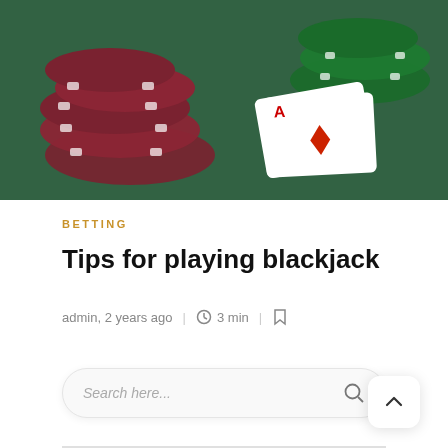[Figure (photo): Blackjack table with red and green casino chips on green felt, with playing cards including an ace visible]
BETTING
Tips for playing blackjack
admin, 2 years ago | 3 min |
Search here...